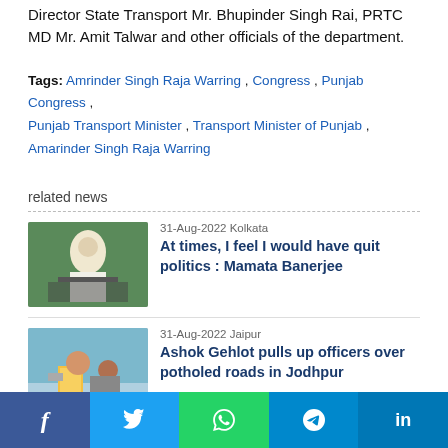Director State Transport Mr. Bhupinder Singh Rai, PRTC MD Mr. Amit Talwar and other officials of the department.
Tags: Amrinder Singh Raja Warring , Congress , Punjab Congress , Punjab Transport Minister , Transport Minister of Punjab , Amarinder Singh Raja Warring
related news
31-Aug-2022 Kolkata — At times, I feel I would have quit politics : Mamata Banerjee
31-Aug-2022 Jaipur — Ashok Gehlot pulls up officers over potholed roads in Jodhpur
31-Aug-2022 New Delhi